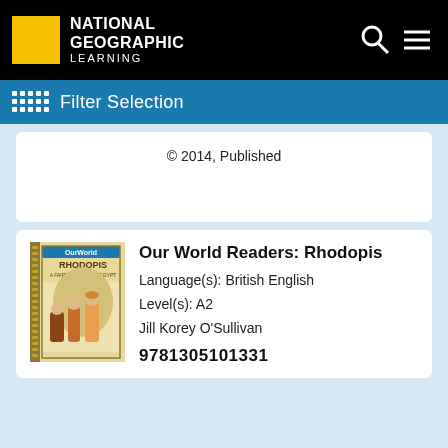[Figure (logo): National Geographic Learning logo with yellow square and white text on black header bar]
Filter Selection
© 2014, Published
[Figure (illustration): Book cover of 'Rhodopis' from Our World Readers series, showing ancient Egyptian figures]
Our World Readers: Rhodopis
Language(s): British English
Level(s): A2
Jill Korey O'Sullivan
9781305101331